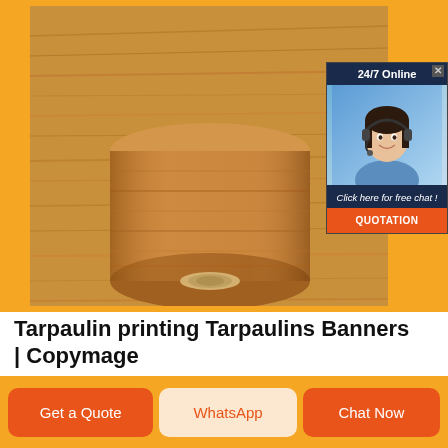[Figure (photo): Rolled wood-grain vinyl/tarpaulin wrap material on a wooden surface, photographed from above, showing the roll and flat surface texture]
[Figure (infographic): Live chat popup overlay showing agent photo of a smiling woman with headset, '24/7 Online' header, 'Click here for free chat!' text, and an orange QUOTATION button]
Tarpaulin printing Tarpaulins Banners | Copymage
Get a Quote
WhatsApp
Chat Now